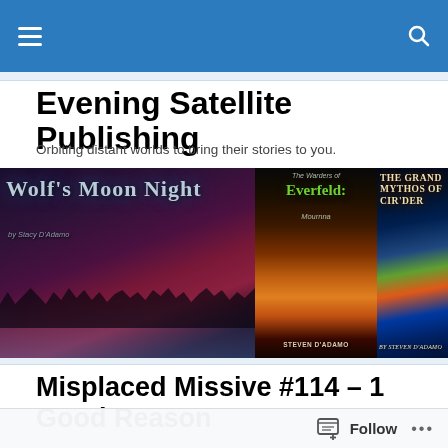Evening Satellite Publishing — navigation bar
Evening Satellite Publishing
Orbiting distant worlds to bring their stories to you.
[Figure (photo): Three fantasy book covers side by side: Wolf's Moon Night by Stacy D'Adamo, The Warders of Everfeld: Mournna by Steven D'Adamo, and The Grand Mythos of Cir'Dar by Steven D'Adamo.]
Misplaced Missive #114 – 1 Good Reason
Follow